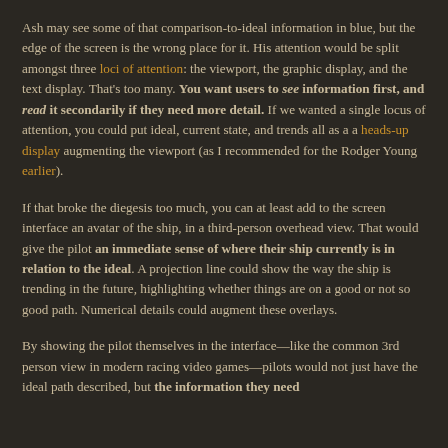Ash may see some of that comparison-to-ideal information in blue, but the edge of the screen is the wrong place for it. His attention would be split amongst three loci of attention: the viewport, the graphic display, and the text display. That's too many. You want users to see information first, and read it secondarily if they need more detail. If we wanted a single locus of attention, you could put ideal, current state, and trends all as a a heads-up display augmenting the viewport (as I recommended for the Rodger Young earlier).
If that broke the diegesis too much, you can at least add to the screen interface an avatar of the ship, in a third-person overhead view. That would give the pilot an immediate sense of where their ship currently is in relation to the ideal. A projection line could show the way the ship is trending in the future, highlighting whether things are on a good or not so good path. Numerical details could augment these overlays.
By showing the pilot themselves in the interface—like the common 3rd person view in modern racing video games—pilots would not just have the ideal path described, but the information they need